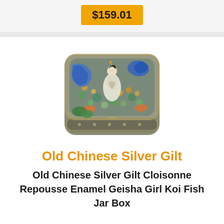$159.01
[Figure (photo): A decorative Old Chinese Silver Gilt Cloisonne Repousse Enamel box with intricate colorful enamel work depicting a Geisha girl and Koi fish pattern on the lid, with green, blue, gold and brown tones.]
Old Chinese Silver Gilt
Old Chinese Silver Gilt Cloisonne Repousse Enamel Geisha Girl Koi Fish Jar Box